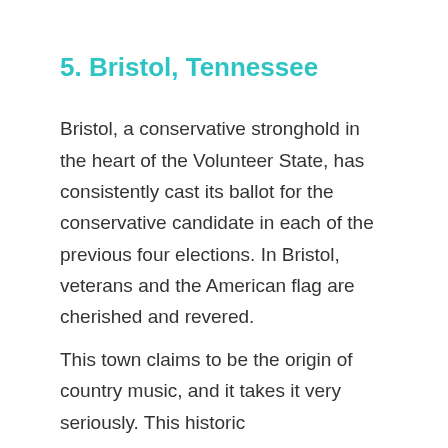5. Bristol, Tennessee
Bristol, a conservative stronghold in the heart of the Volunteer State, has consistently cast its ballot for the conservative candidate in each of the previous four elections. In Bristol, veterans and the American flag are cherished and revered.
This town claims to be the origin of country music, and it takes it very seriously. This historic